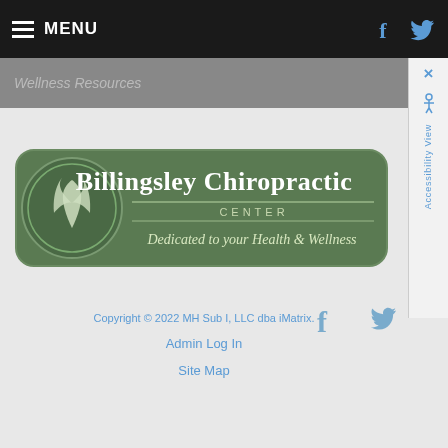MENU
Wellness Resources
[Figure (logo): Billingsley Chiropractic Center logo - green rounded rectangle with circular emblem showing stylized plant/people figure, text reads 'Billingsley Chiropractic CENTER - Dedicated to your Health & Wellness']
Copyright © 2022 MH Sub I, LLC dba iMatrix.
Admin Log In
Site Map